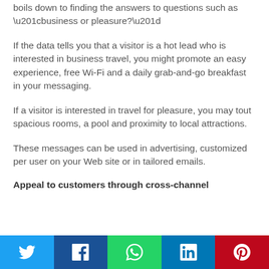boils down to finding the answers to questions such as “business or pleasure?”
If the data tells you that a visitor is a hot lead who is interested in business travel, you might promote an easy experience, free Wi-Fi and a daily grab-and-go breakfast in your messaging.
If a visitor is interested in travel for pleasure, you may tout spacious rooms, a pool and proximity to local attractions.
These messages can be used in advertising, customized per user on your Web site or in tailored emails.
Appeal to customers through cross-channel